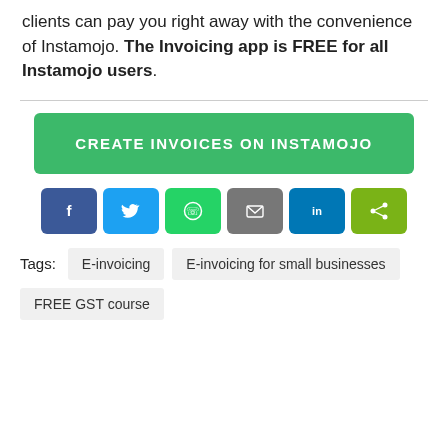clients can pay you right away with the convenience of Instamojo. The Invoicing app is FREE for all Instamojo users.
[Figure (other): Green call-to-action button: CREATE INVOICES ON INSTAMOJO]
[Figure (other): Row of social share buttons: Facebook, Twitter, WhatsApp, Email, LinkedIn, Share]
Tags: E-invoicing   E-invoicing for small businesses
FREE GST course